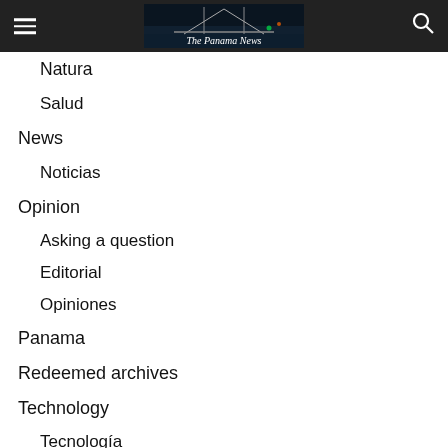The Panama News
Natura
Salud
News
Noticias
Opinion
Asking a question
Editorial
Opiniones
Panama
Redeemed archives
Technology
Tecnología
Uncategorized
What they say